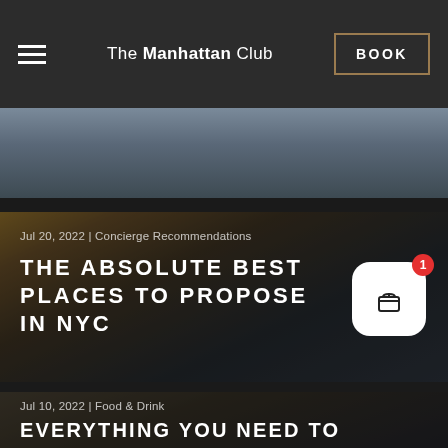The Manhattan Club | BOOK
[Figure (photo): Partial view of a photo at the top, partially cropped]
Jul 20, 2022 | Concierge Recommendations
The Absolute Best Places to Propose in NYC
[Figure (photo): Couple on Brooklyn Bridge - proposal photo background]
[Figure (illustration): Gift/notification icon with badge showing 1]
Jul 10, 2022 | Food & Drink
Everything You Need to